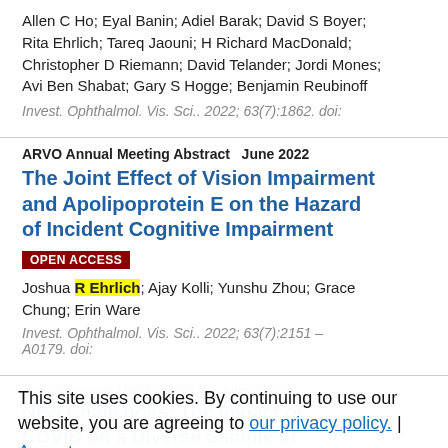Allen C Ho; Eyal Banin; Adiel Barak; David S Boyer; Rita Ehrlich; Tareq Jaouni; H Richard MacDonald; Christopher D Riemann; David Telander; Jordi Mones; Avi Ben Shabat; Gary S Hogge; Benjamin Reubinoff
Invest. Ophthalmol. Vis. Sci.. 2022; 63(7):1862. doi:
ARVO Annual Meeting Abstract   June 2022
The Joint Effect of Vision Impairment and Apolipoprotein E on the Hazard of Incident Cognitive Impairment
OPEN ACCESS
Joshua R Ehrlich; Ajay Kolli; Yunshu Zhou; Grace Chung; Erin Ware
Invest. Ophthalmol. Vis. Sci.. 2022; 63(7):2151 – A0179. doi:
This site uses cookies. By continuing to use our website, you are agreeing to our privacy policy. Accept
ARVO Annual Meeting Abstract   June 2022
New Challenges: The Impact of COVID on a Diverse Sample of Adults with Vision Impairment in SE